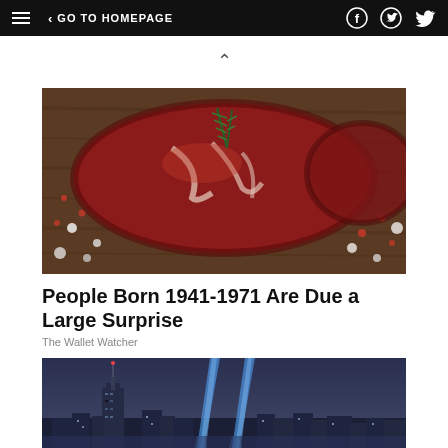GO TO HOMEPAGE
[Figure (photo): Close-up photo of a raw beef steak with pink peppercorns and salt on a wooden board, with rosemary garnish]
People Born 1941-1971 Are Due a Large Surprise
The Wallet Watcher
[Figure (photo): Night photo of New York City skyline with two blue beams of light shooting into the sky (9/11 Tribute in Light), with HuffPost logo overlay]